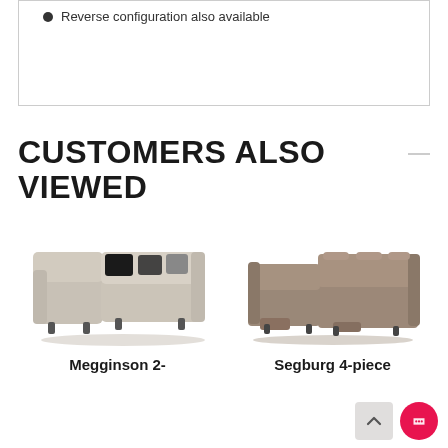Reverse configuration also available
CUSTOMERS ALSO VIEWED
[Figure (photo): Gray fabric sectional sofa with black decorative pillows and chaise lounge - Megginson 2-piece]
Megginson 2-
[Figure (photo): Brown leather power reclining sectional sofa - Segburg 4-piece]
Segburg 4-piece